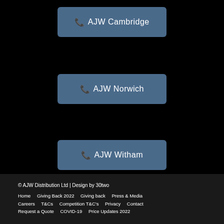📞 AJW Cambridge
📞 AJW Norwich
📞 AJW Witham
© AJW Distribution Ltd | Design by 30two
Home  Giving Back 2022  Giving back  Press & Media
Careers  T&Cs  Competition T&C's  Privacy  Contact
Request a Quote  COVID-19  Price Updates 2022